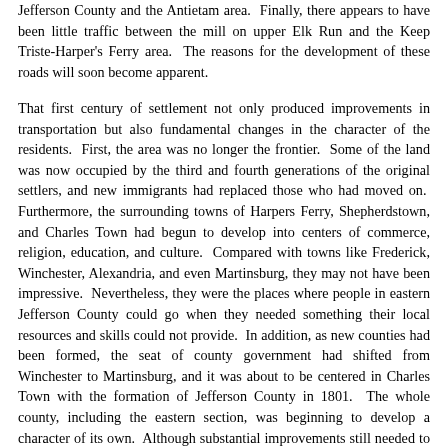Jefferson County and the Antietam area. Finally, there appears to have been little traffic between the mill on upper Elk Run and the Keep Triste-Harper's Ferry area. The reasons for the development of these roads will soon become apparent.
That first century of settlement not only produced improvements in transportation but also fundamental changes in the character of the residents. First, the area was no longer the frontier. Some of the land was now occupied by the third and fourth generations of the original settlers, and new immigrants had replaced those who had moved on. Furthermore, the surrounding towns of Harpers Ferry, Shepherdstown, and Charles Town had begun to develop into centers of commerce, religion, education, and culture. Compared with towns like Frederick, Winchester, Alexandria, and even Martinsburg, they may not have been impressive. Nevertheless, they were the places where people in eastern Jefferson County could go when they needed something their local resources and skills could not provide. In addition, as new counties had been formed, the seat of county government had shifted from Winchester to Martinsburg, and it was about to be centered in Charles Town with the formation of Jefferson County in 1801. The whole county, including the eastern section, was beginning to develop a character of its own. Although substantial improvements still needed to be made to navigation on the Potomac River, navigation was generally good from Conocheague Creek to Great Falls. 2 Finally, a Federal Armory was being established at Harper's